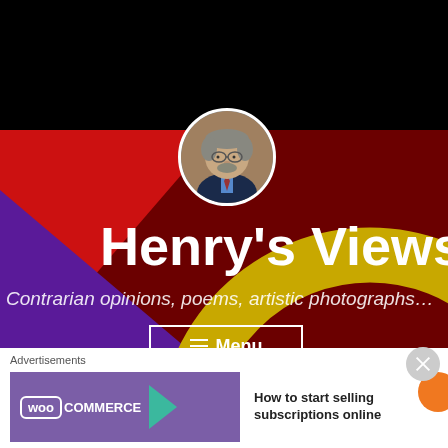[Figure (screenshot): Website header for 'Henry's Views' blog showing a circular author photo, bold white title text, subtitle 'Contrarian opinions, poems, artistic photographs...', a hamburger Menu button, colorful background with red triangle, purple triangle, and golden concentric circle arc on dark red/black background.]
Henry's Views
Contrarian opinions, poems, artistic photographs...
≡ Menu
Advertisements
[Figure (logo): WooCommerce advertisement banner with purple background, teal arrow, text: How to start selling subscriptions online]